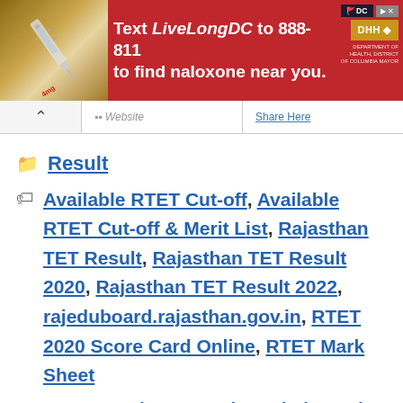[Figure (photo): Advertisement banner: 'Text LiveLongDC to 888-811 to find naloxone near you.' with a syringe photo on the left and DC/DHH logos on the right, red background.]
Result
Available RTET Cut-off, Available RTET Cut-off & Merit List, Rajasthan TET Result, Rajasthan TET Result 2020, Rajasthan TET Result 2022, rajeduboard.rajasthan.gov.in, RTET 2020 Score Card Online, RTET Mark Sheet
< DFCCIL Junior Executive Admit Card 2022- DFCCIL Exam Date, Hall Ticket
> NHM Beed Staff Nurse Admit card 2022